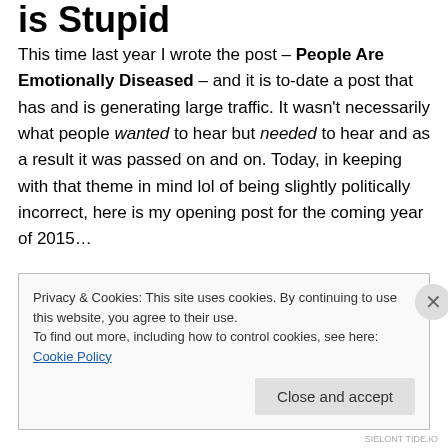is Stupid
This time last year I wrote the post – People Are Emotionally Diseased – and it is to-date a post that has and is generating large traffic. It wasn't necessarily what people wanted to hear but needed to hear and as a result it was passed on and on. Today, in keeping with that theme in mind lol of being slightly politically incorrect, here is my opening post for the coming year of 2015…

The heart wants what it wants. It's a phrase that gets tossed out so often in terms of relationships mostly, and
Privacy & Cookies: This site uses cookies. By continuing to use this website, you agree to their use.
To find out more, including how to control cookies, see here: Cookie Policy

Close and accept